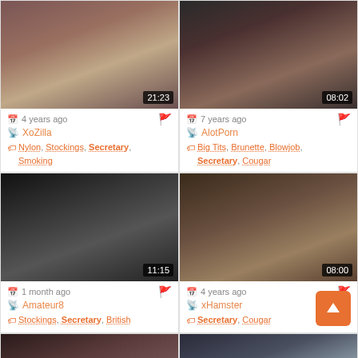[Figure (screenshot): Video thumbnail 1, duration 21:23]
4 years ago | XoZilla | Nylon, Stockings, Secretary, Smoking
[Figure (screenshot): Video thumbnail 2, duration 08:02]
7 years ago | AlotPorn | Big Tits, Brunette, Blowjob, Secretary, Cougar
[Figure (screenshot): Video thumbnail 3, duration 11:15]
1 month ago | Amateur8 | Stockings, Secretary, British
[Figure (screenshot): Video thumbnail 4, duration 08:00]
4 years ago | xHamster | Secretary, Cougar
[Figure (screenshot): Video thumbnail 5 (partial)]
[Figure (screenshot): Video thumbnail 6 (partial)]